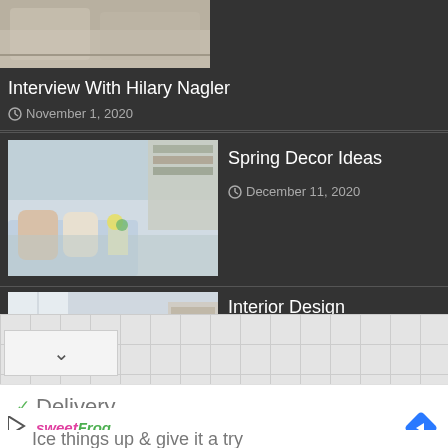[Figure (photo): Cropped bedroom photo at top left]
Interview With Hilary Nagler
November 1, 2020
[Figure (photo): Living room with blue cushions, bookshelf and flowers - Spring Decor Ideas thumbnail]
Spring Decor Ideas
December 11, 2020
[Figure (photo): Modern farmhouse kitchen interior thumbnail]
Interior Design Stylemodern Farmhouse Interior
December 26, 2020
Delivery
[Figure (logo): sweetFrog logo and navigation ad - Ice things up & give it a try]